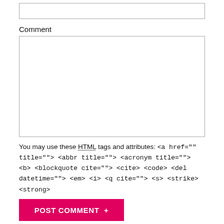[Figure (screenshot): Empty text input box (single line)]
Comment
[Figure (screenshot): Large empty textarea for comment input]
You may use these HTML tags and attributes: <a href="" title=""> <abbr title=""> <acronym title=""> <b> <blockquote cite=""> <cite> <code> <del datetime=""> <em> <i> <q cite=""> <s> <strike> <strong>
POST COMMENT +